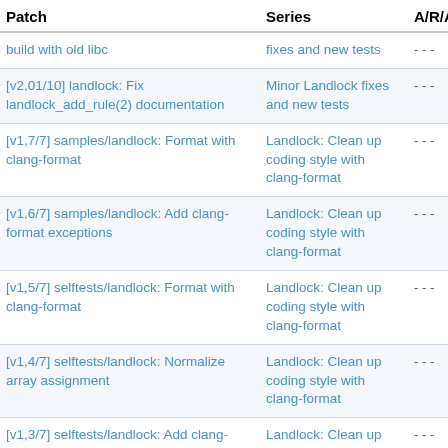| Patch | Series | A/R/A |
| --- | --- | --- |
| build with old libc | fixes and new tests | - - - |
| [v2,01/10] landlock: Fix landlock_add_rule(2) documentation | Minor Landlock fixes and new tests | - - - |
| [v1,7/7] samples/landlock: Format with clang-format | Landlock: Clean up coding style with clang-format | - - - |
| [v1,6/7] samples/landlock: Add clang-format exceptions | Landlock: Clean up coding style with clang-format | - - - |
| [v1,5/7] selftests/landlock: Format with clang-format | Landlock: Clean up coding style with clang-format | - - - |
| [v1,4/7] selftests/landlock: Normalize array assignment | Landlock: Clean up coding style with clang-format | - - - |
| [v1,3/7] selftests/landlock: Add clang-format exceptions | Landlock: Clean up coding style with clang-format | - - - |